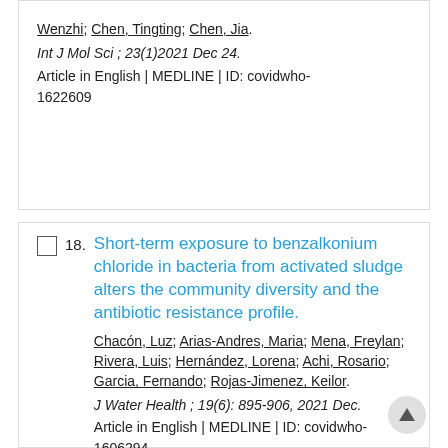Wenzhi; Chen, Tingting; Chen, Jia.
Int J Mol Sci ; 23(1)2021 Dec 24.
Article in English | MEDLINE | ID: covidwho-1622609
18. Short-term exposure to benzalkonium chloride in bacteria from activated sludge alters the community diversity and the antibiotic resistance profile.
Chacón, Luz; Arias-Andres, Maria; Mena, Freylan; Rivera, Luis; Hernández, Lorena; Achi, Rosario; Garcia, Fernando; Rojas-Jimenez, Keilor.
J Water Health ; 19(6): 895-906, 2021 Dec.
Article in English | MEDLINE | ID: covidwho-1606294